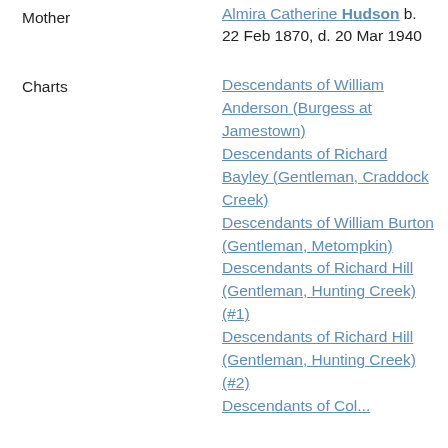Mother
Almira Catherine Hudson b. 22 Feb 1870, d. 20 Mar 1940
Charts
Descendants of William Anderson (Burgess at Jamestown)
Descendants of Richard Bayley (Gentleman, Craddock Creek)
Descendants of William Burton (Gentleman, Metompkin)
Descendants of Richard Hill (Gentleman, Hunting Creek) (#1)
Descendants of Richard Hill (Gentleman, Hunting Creek) (#2)
Descendants of Col...